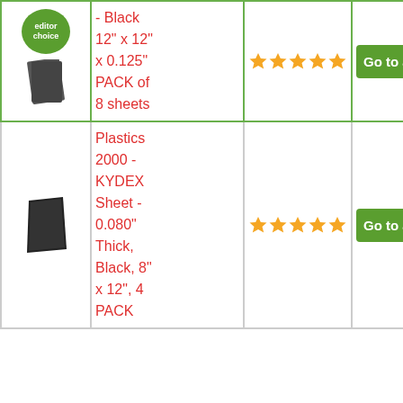| Image | Product Name | Rating | Link |
| --- | --- | --- | --- |
| [product image] | - Black 12" x 12" x 0.125" PACK of 8 sheets | ★★★★★ | Go to amaz... |
| [product image] | Plastics 2000 - KYDEX Sheet - 0.080" Thick, Black, 8" x 12", 4 PACK | ★★★★★ | Go to amaz... |